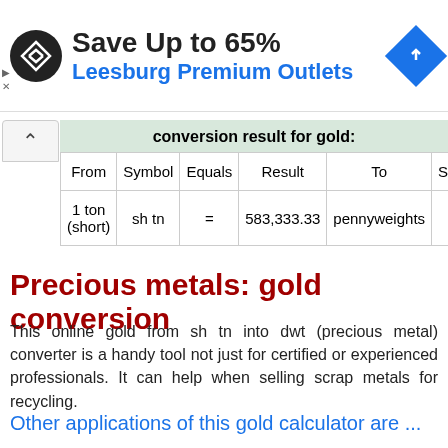[Figure (other): Advertisement banner: black circular logo with diamond arrows icon, text 'Save Up to 65%' and 'Leesburg Premium Outlets' in blue, blue diamond navigation icon on right]
| From | Symbol | Equals | Result | To | Symbol |
| --- | --- | --- | --- | --- | --- |
| 1 ton (short) | sh tn | = | 583,333.33 | pennyweights | dwt |
Precious metals: gold conversion
This online gold from sh tn into dwt (precious metal) converter is a handy tool not just for certified or experienced professionals. It can help when selling scrap metals for recycling.
Other applications of this gold calculator are ...